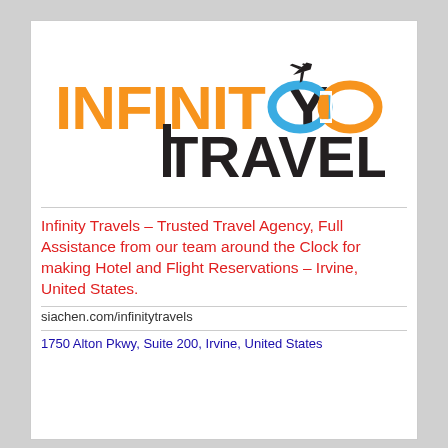[Figure (logo): Infinity Travels logo with orange 'INFINITY' text and dark 'TRAVELS' text, with a blue and orange infinity symbol and airplane icon]
Infinity Travels – Trusted Travel Agency, Full Assistance from our team around the Clock for making Hotel and Flight Reservations – Irvine, United States.
siachen.com/infinitytravels
1750 Alton Pkwy, Suite 200, Irvine, United States